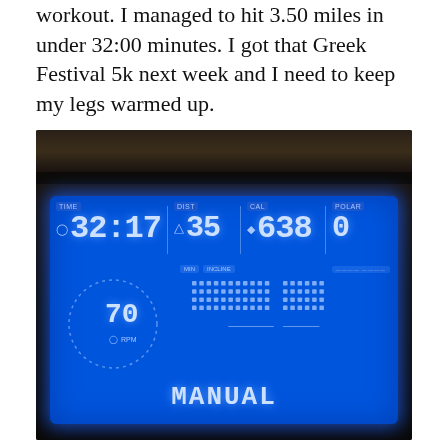workout. I managed to hit 3.50 miles in under 32:00 minutes. I got that Greek Festival 5k next week and I need to keep my legs warmed up.
[Figure (photo): Photo of a treadmill or exercise machine LCD display panel glowing blue in a dark room, showing TIME 32:17, DIST 35, CAL 638, POLAR 0, with RPM 70 displayed in a circular dial, and MANUAL displayed at the bottom of the screen.]